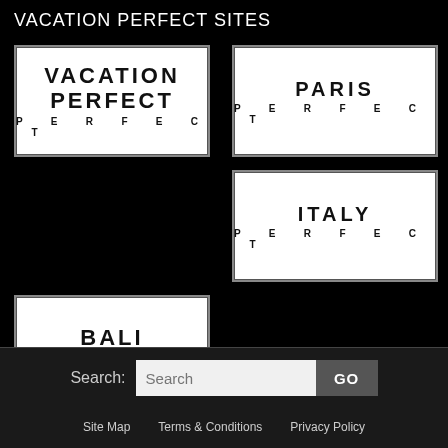VACATION PERFECT SITES
[Figure (logo): Vacation Perfect logo — white box with bold text VACATION PERFECT]
[Figure (logo): Paris Perfect logo — white box with bold text PARIS PERFECT]
[Figure (logo): Italy Perfect logo — white box with bold text ITALY PERFECT]
[Figure (logo): Bali Perfect logo — white box with bold text BALI PERFECT]
Search:
Site Map   Terms & Conditions   Privacy Policy